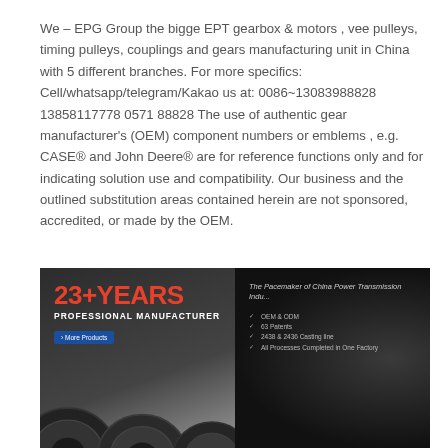We – EPG Group the bigge EPT gearbox & motors , vee pulleys, timing pulleys, couplings and gears manufacturing unit in China with 5 different branches. For more specifics: Cell/whatsapp/telegram/Kakao us at: 0086~13083988828 13858117778 0571 88828 The use of authentic gear manufacturer's (OEM) component numbers or emblems , e.g. CASE® and John Deere® are for reference functions only and for indicating solution use and compatibility. Our business and the outlined substitution areas contained herein are not sponsored, accredited, or made by the OEM.
[Figure (photo): EPG Group promotional banner showing '23+ YEARS PROFESSIONAL MANUFACTURER' text in red and white on dark background, with gear/pulley products visible at bottom, and a list of features including OEM & ODM, 63 Patents, 2438 & 2436 Casting line, All Processes Completed in One Factory. Text 'The Pacemaker of China Power Transmission Industry' appears on right side.]